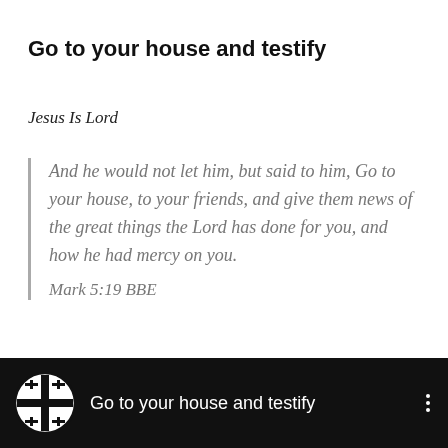Go to your house and testify
Jesus Is Lord
And he would not let him, but said to him, Go to your house, to your friends, and give them news of the great things the Lord has done for you, and how he had mercy on you.
Mark 5:19 BBE
[Figure (screenshot): Black footer bar with Jerusalem cross logo icon and text 'Go to your house and testify' with three-dot menu icon]